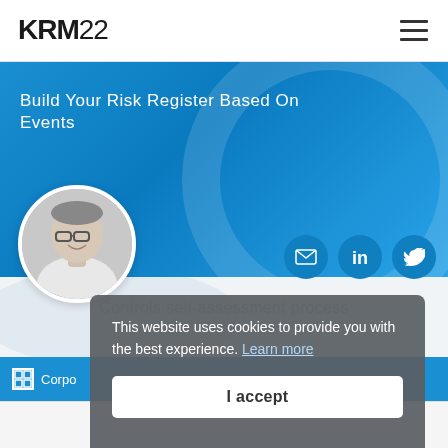KRM22
Build Your Risk Register Based On Events
[Figure (photo): Circular black and white headshot photo of a man with glasses, smiling, wearing a white shirt]
[Figure (infographic): Three social media icon circles: email (envelope), LinkedIn, and Twitter]
Controls self-assessment process
This website uses cookies to provide you with the best experience. Learn more
I accept
Corpo